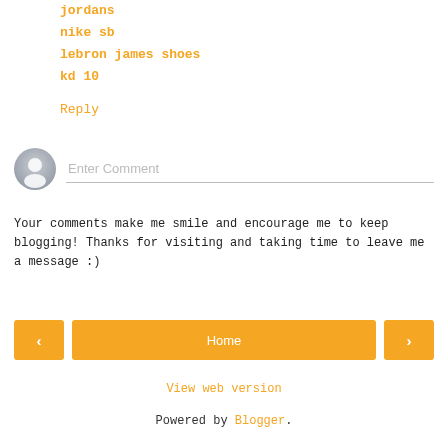jordans
nike sb
lebron james shoes
kd 10
Reply
[Figure (other): Comment input box with avatar placeholder and 'Enter Comment' placeholder text]
Your comments make me smile and encourage me to keep blogging! Thanks for visiting and taking time to leave me a message :)
[Figure (other): Navigation bar with left arrow button, Home button, and right arrow button]
View web version
Powered by Blogger.